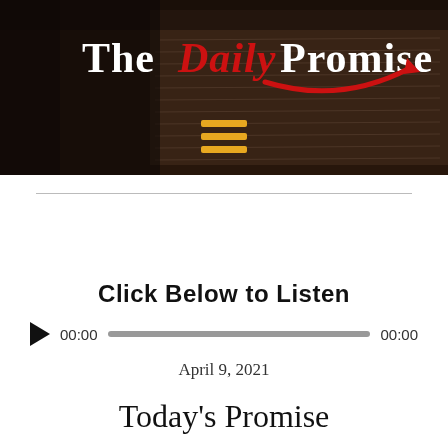[Figure (screenshot): Header banner with dark background showing an open Bible book, containing the logo 'The Daily Promise' with a red arrow, and a hamburger menu icon in gold/yellow]
Click Below to Listen
[Figure (other): Audio player with play button, time display 00:00, progress bar, and end time 00:00]
April 9, 2021
Today's Promise